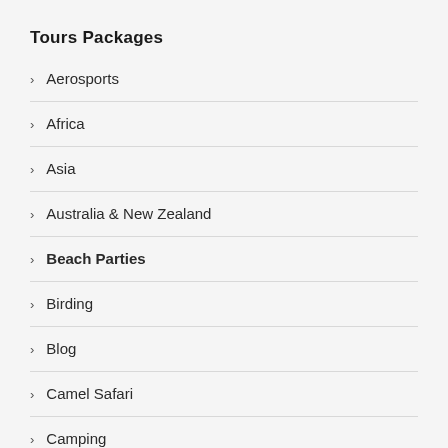Tours Packages
Aerosports
Africa
Asia
Australia & New Zealand
Beach Parties
Birding
Blog
Camel Safari
Camping